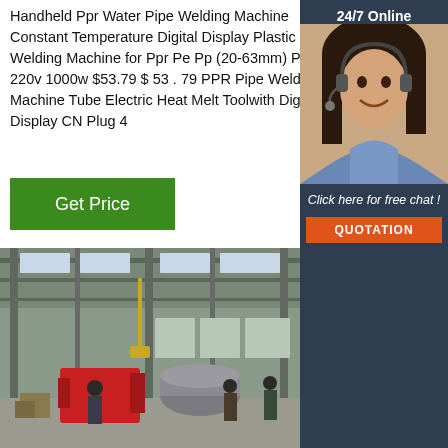Handheld Ppr Water Pipe Welding Machine Constant Temperature Digital Display Plastic Welding Machine for Ppr Pe Pp (20-63mm) Pipe 220v 1000w $53.79 $ 53 . 79 PPR Pipe Welding Machine Tube Electric Heat Melt Toolwith Digital Display CN Plug 4
[Figure (other): Green 'Get Price' button]
[Figure (other): Sidebar with '24/7 Online' label, customer service agent photo (woman wearing headset), 'Click here for free chat!' text, and orange 'QUOTATION' button]
[Figure (photo): Interior of a large industrial factory building with metal roof structure, crane lifting equipment, and workers on the factory floor with industrial machinery]